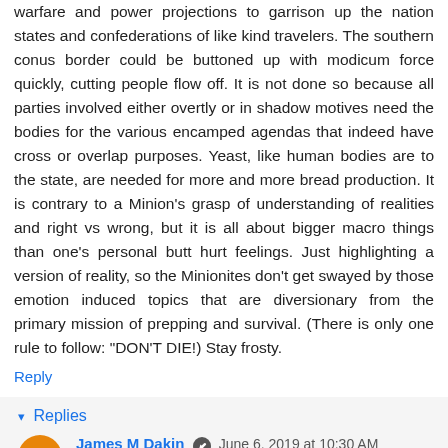warfare and power projections to garrison up the nation states and confederations of like kind travelers. The southern conus border could be buttoned up with modicum force quickly, cutting people flow off. It is not done so because all parties involved either overtly or in shadow motives need the bodies for the various encamped agendas that indeed have cross or overlap purposes. Yeast, like human bodies are to the state, are needed for more and more bread production. It is contrary to a Minion's grasp of understanding of realities and right vs wrong, but it is all about bigger macro things than one's personal butt hurt feelings. Just highlighting a version of reality, so the Minionites don't get swayed by those emotion induced topics that are diversionary from the primary mission of prepping and survival. (There is only one rule to follow: "DON'T DIE!) Stay frosty.
Reply
▾ Replies
James M Dakin  June 6, 2019 at 10:30 AM
I thought the only rule of survival was: "don't